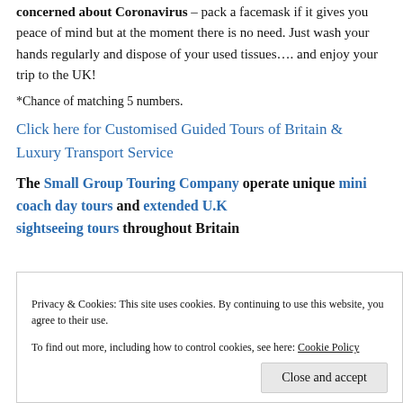concerned about Coronavirus – pack a facemask if it gives you peace of mind but at the moment there is no need. Just wash your hands regularly and dispose of your used tissues.... and enjoy your trip to the UK!
*Chance of matching 5 numbers.
Click here for Customised Guided Tours of Britain & Luxury Transport Service
The Small Group Touring Company operate unique mini coach day tours and extended U.K sightseeing tours throughout Britain
Privacy & Cookies: This site uses cookies. By continuing to use this website, you agree to their use.
To find out more, including how to control cookies, see here: Cookie Policy